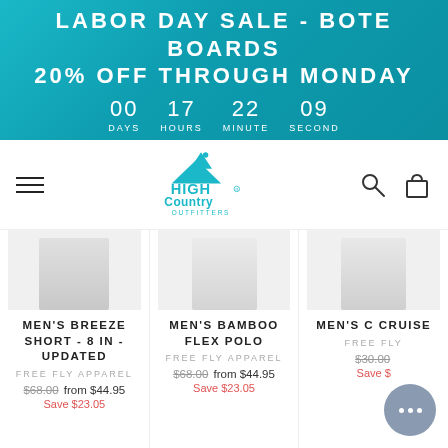LABOR DAY SALE - BOTE BOARDS 20% OFF THROUGH MONDAY
00 DAYS  17 HOURS  22 MINUTE  09 SECOND
[Figure (logo): High Country Outfitters logo with mountain icon in teal/blue]
MEN'S BREEZE SHORT - 8 IN - UPDATED
FREE FLY APPAREL
$68.00 from $44.95
Save $23.05
MEN'S BAMBOO FLEX POLO
FREE FLY APPAREL
$68.00 from $44.95
Save $23.05
MEN'S C CRUISE
FREE FLY
$30.00
Save $...